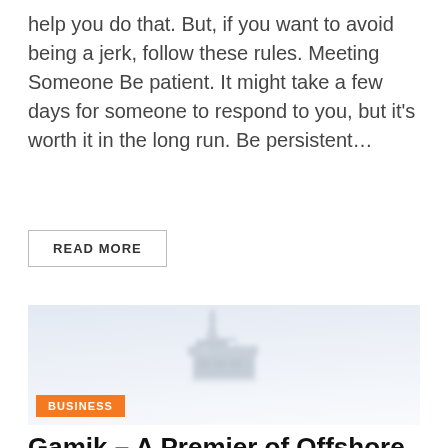help you do that. But, if you want to avoid being a jerk, follow these rules. Meeting Someone Be patient. It might take a few days for someone to respond to you, but it's worth it in the long run. Be persistent…
READ MORE
[Figure (photo): An offshore oil drilling rig or ship photographed in foggy/misty conditions, appearing faded against a light blue-grey background.]
BUSINESS
Gamik – A Premier of Offshore